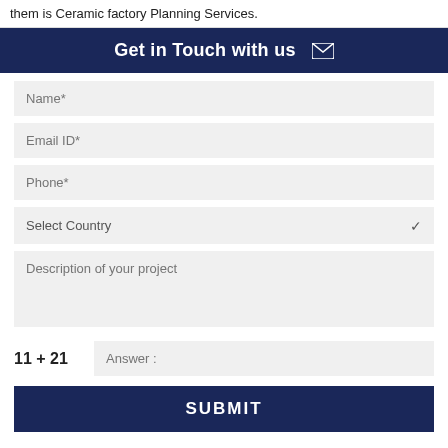them is Ceramic factory Planning Services.
Get in Touch with us
Name*
Email ID*
Phone*
Select Country
Description of your project
11 + 21   Answer :
SUBMIT